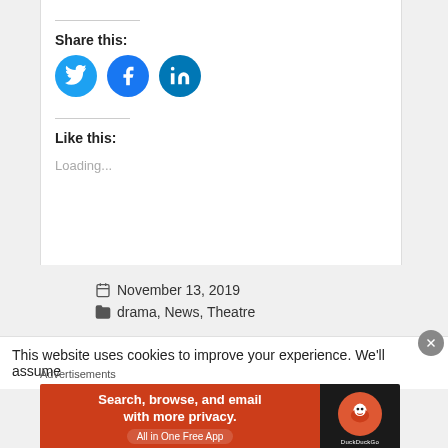Share this:
[Figure (illustration): Social media share icons: Twitter (blue bird), Facebook (blue f), LinkedIn (blue in)]
Like this:
Loading...
November 13, 2019
drama, News, Theatre
This website uses cookies to improve your experience. We'll assume
Advertisements
[Figure (screenshot): DuckDuckGo advertisement banner: 'Search, browse, and email with more privacy. All in One Free App' on orange background with DuckDuckGo logo on dark background]